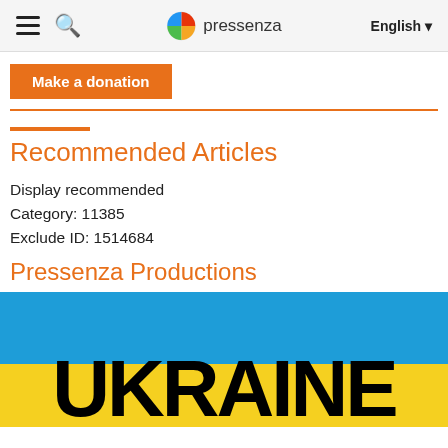≡ 🔍 pressenza English ▼
Make a donation
Recommended Articles
Display recommended
Category: 11385
Exclude ID: 1514684
Pressenza Productions
[Figure (photo): Ukraine text overlay on blue and yellow background (Ukrainian flag colors) with bold black text reading UKRAINE]